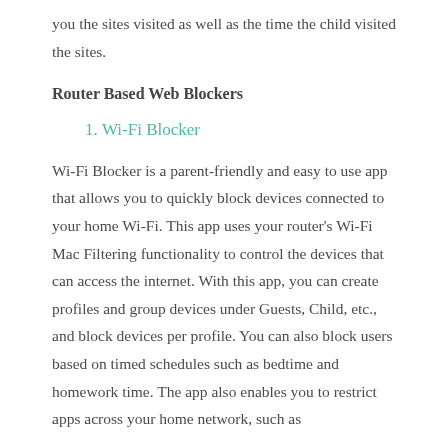you the sites visited as well as the time the child visited the sites.
Router Based Web Blockers
Wi-Fi Blocker
Wi-Fi Blocker is a parent-friendly and easy to use app that allows you to quickly block devices connected to your home Wi-Fi. This app uses your router's Wi-Fi Mac Filtering functionality to control the devices that can access the internet. With this app, you can create profiles and group devices under Guests, Child, etc., and block devices per profile. You can also block users based on timed schedules such as bedtime and homework time. The app also enables you to restrict apps across your home network, such as